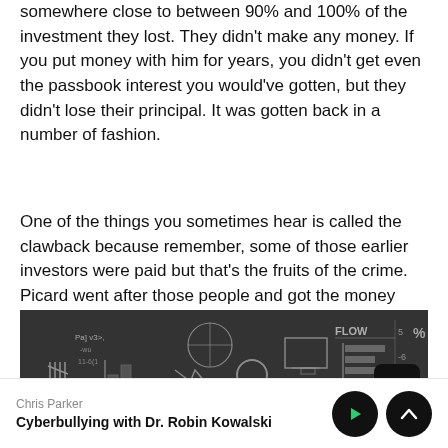somewhere close to between 90% and 100% of the investment they lost. They didn't make any money. If you put money with him for years, you didn't get even the passbook interest you would've gotten, but they didn't lose their principal. It was gotten back in a number of fashion.
One of the things you sometimes hear is called the clawback because remember, some of those earlier investors were paid but that's the fruits of the crime. Picard went after those people and got the money back. That's a chunk.
[Figure (illustration): Dark chalkboard-style illustration with financial diagrams, arrows, charts, magnifying glass, and handwritten text including 'FLOW', 'IMPORT']
Chris Parker
Cyberbullying with Dr. Robin Kowalski